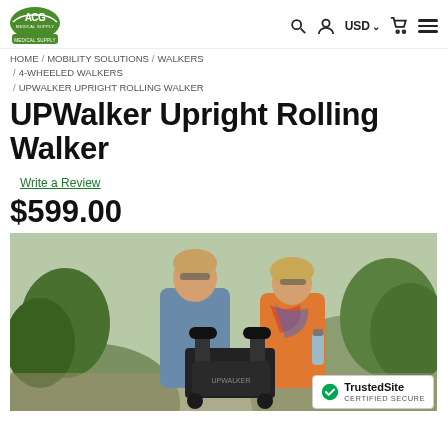ACG Medical Supply — HOME / MOBILITY SOLUTIONS / WALKERS / 4-WHEELED WALKERS / UPWALKER UPRIGHT ROLLING WALKER
UPWalker Upright Rolling Walker
Write a Review
$599.00
[Figure (photo): An older couple outdoors using an UPWalker upright rolling walker. The man on the left is using the walker and smiling; the woman on the right is standing beside him holding a water bottle. Green trees and a hillside are visible in the background.]